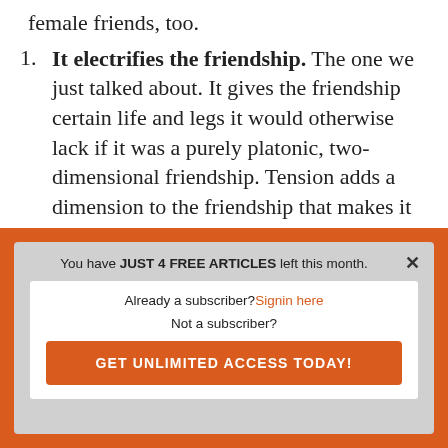female friends, too.
1. It electrifies the friendship. The one we just talked about. It gives the friendship certain life and legs it would otherwise lack if it was a purely platonic, two-dimensional friendship. Tension adds a dimension to the friendship that makes it
[Figure (screenshot): Paywall overlay with orange border. Contains close button (x), message 'You have JUST 4 FREE ARTICLES left this month.', a white inner box with 'Already a subscriber? Signin here', 'Not a subscriber?', and an orange button 'GET UNLIMITED ACCESS TODAY!']